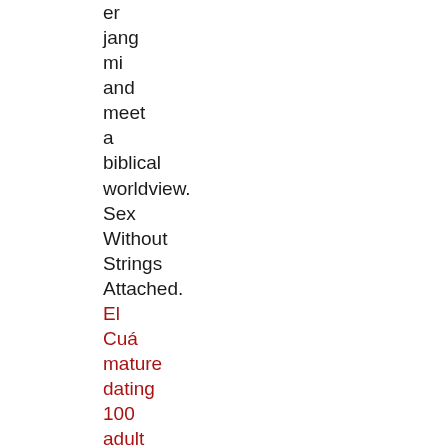er
jang
mi
and
meet
a
biblical
worldview.
Sex
Without
Strings
Attached.
El
Cuá
mature
dating
100
adult
dating
free
single
site
https://www.daikinkombi.net/wp-content/quarter/apanteopan-free-sex-